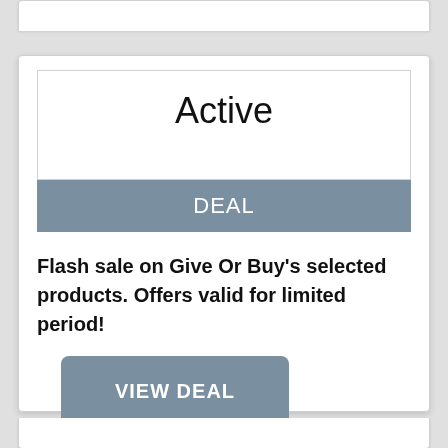Active
DEAL
Flash sale on Give Or Buy's selected products. Offers valid for limited period!
VIEW DEAL